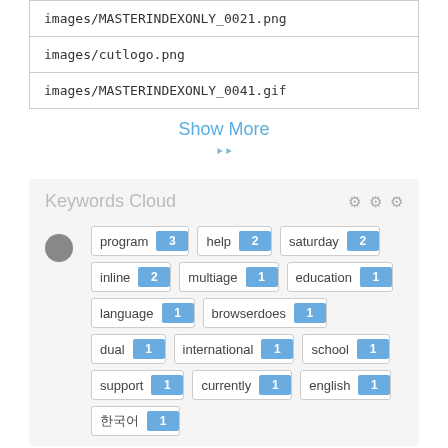| images/MASTERINDEXONLY_0021.png |
| images/cutlogo.png |
| images/MASTERINDEXONLY_0041.gif |
Show More
Keywords Cloud
program 3  help 2  saturday 2  inline 2  multiage 1  education 1  language 1  browserdoes 1  dual 1  international 1  school 1  support 1  currently 1  english 1  한국어 1